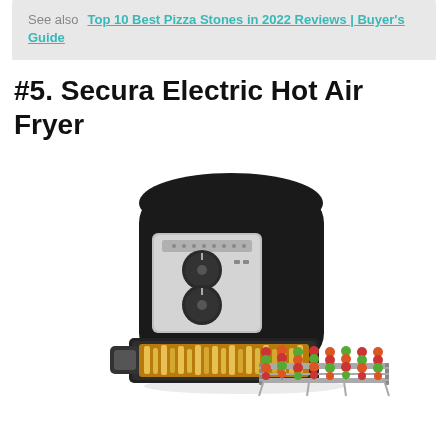See also  Top 10 Best Pizza Stones in 2022 Reviews | Buyer's Guide
#5. Secura Electric Hot Air Fryer
[Figure (photo): Secura Electric Hot Air Fryer product photo showing a black and silver air fryer with a basket containing french fries, and a skewer rack with kebabs positioned in front of the unit.]